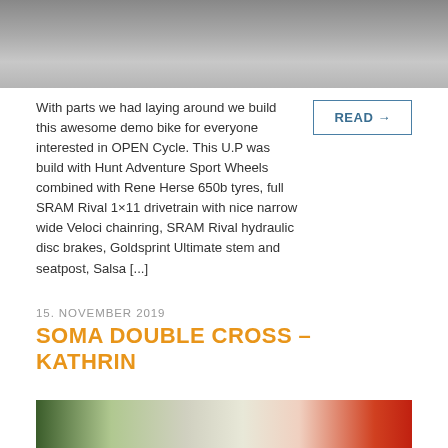[Figure (photo): Partial photo of a bicycle showing wheels on a concrete surface, cropped at top of page]
With parts we had laying around we build this awesome demo bike for everyone interested in OPEN Cycle. This U.P was build with Hunt Adventure Sport Wheels combined with Rene Herse 650b tyres, full SRAM Rival 1×11 drivetrain with nice narrow wide Veloci chainring, SRAM Rival hydraulic disc brakes, Goldsprint Ultimate stem and seatpost, Salsa [...]
READ →
15. NOVEMBER 2019
SOMA DOUBLE CROSS – KATHRIN
[Figure (photo): Partial photo at bottom showing a bicycle near a red vehicle, cropped]